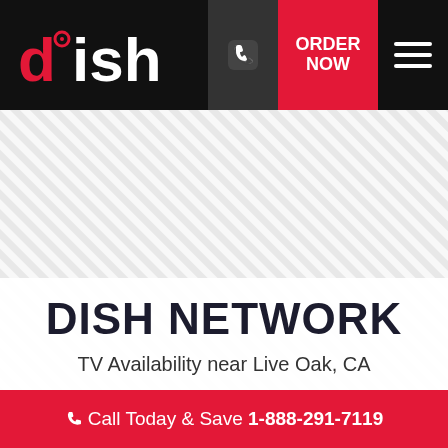[Figure (logo): DISH Network logo in red and white on black navbar with phone icon, ORDER NOW button in red, and hamburger menu]
[Figure (illustration): Diagonal grey and white stripe pattern background filling the main content area]
DISH NETWORK
TV Availability near Live Oak, CA
Call Today & Save 1-888-291-7119